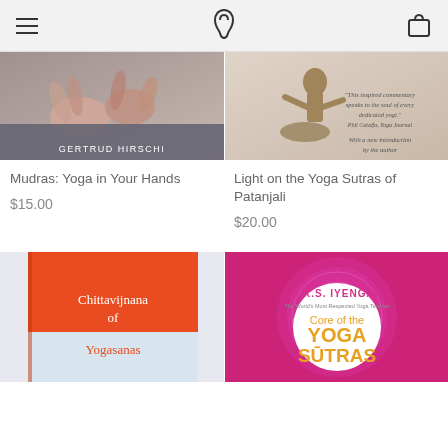Yoga shop navigation header with hamburger menu, logo, and cart icon
[Figure (photo): Book cover: Mudras: Yoga in Your Hands by Gertrud Hirschi - showing hands in mudra gesture]
Mudras: Yoga in Your Hands
$15.00
[Figure (photo): Book cover: Light on the Yoga Sutras of Patanjali - showing a bronze dancer statue with quote from Phil Catalfo, Yoga Journal]
Light on the Yoga Sutras of Patanjali
$20.00
[Figure (photo): Book cover: Chittavijnana of Yogasanas - orange and white cover]
[Figure (photo): Book cover: Core of the Yoga Sutras by B.K.S. Iyengar - pink mandala cover]